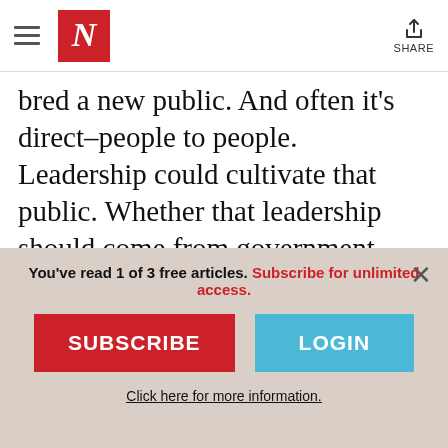The Nation — N logo, hamburger menu, share button
bred a new public. And often it's direct–people to people. Leadership could cultivate that public. Whether that leadership should come from government, commerce or imaginative individuals is up for grabs. If I were in government, I'd see it as a highly competitive moment and collaborate with artists to speak to that public and cultivate that public. Artists are in their own branding
You've read 1 of 3 free articles. Subscribe for unlimited access.
SUBSCRIBE
LOGIN
Click here for more information.